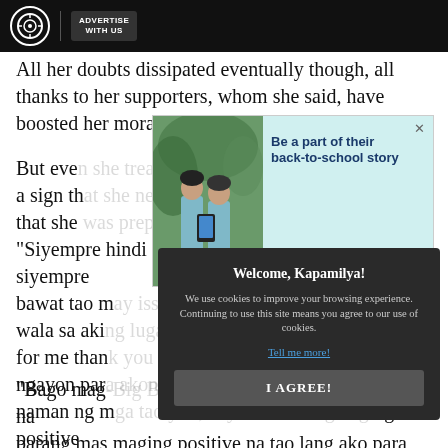ABS-CBN | ADVERTISE WITH US
All her doubts dissipated eventually though, all thanks to her supporters, whom she said, have boosted her morale.
[Figure (screenshot): Advertisement overlay showing two schoolgirls looking at a phone, with text 'Be a part of their back-to-school story', a 'Send load' button, and 'ding' branding]
But even... tion as a sign th... a said that she... dy. "Siyempre hindi naman po maliwasan yon, siyempre bawat tao m... at siguro wala sa akin... bi sila. Pero for me than... g ganon kasi ngayon par... ansin rin naman ng m... g positive ako," the fo... ess said.
[Figure (screenshot): Cookie consent modal with dark background reading 'Welcome, Kapamilya! We use cookies to improve your browsing experience. Continuing to use this site means you agree to our use of cookies.' with 'Tell me more!' link and 'I AGREE!' button]
"Bago mag... sa goal ko na parang mas maging positive na tao lang ako para maging masaya lang at walang mabigat na feeling," she continued.